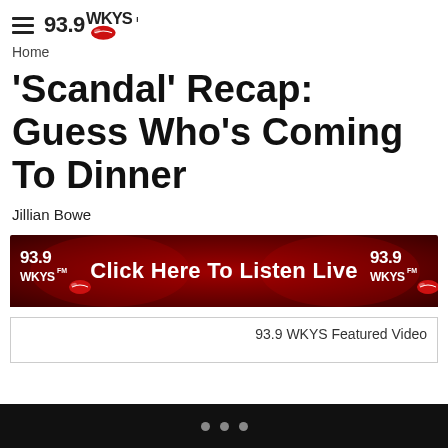93.9 WKYS
Home
'Scandal' Recap: Guess Who's Coming To Dinner
Jillian Bowe
[Figure (other): 93.9 WKYS radio station banner ad: dark red background with logo on left and right, center text reads 'Click Here To Listen Live']
93.9 WKYS Featured Video